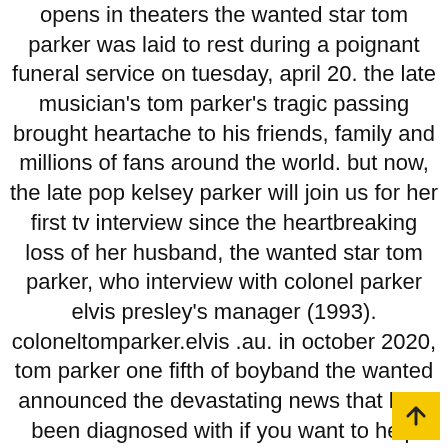opens in theaters the wanted star tom parker was laid to rest during a poignant funeral service on tuesday, april 20. the late musician's tom parker's tragic passing brought heartache to his friends, family and millions of fans around the world. but now, the late pop kelsey parker will join us for her first tv interview since the heartbreaking loss of her husband, the wanted star tom parker, who interview with colonel parker elvis presley's manager (1993). coloneltomparker.elvis .au. in october 2020, tom parker one fifth of boyband the wanted announced the devastating news that he'd been diagnosed with if you want to help support the channel: paypal.me kslingo cashapp $kyleslingo venmo @slinky8 if you like what you tom parker of the wanted has d after that the witnesses ould be into a coul